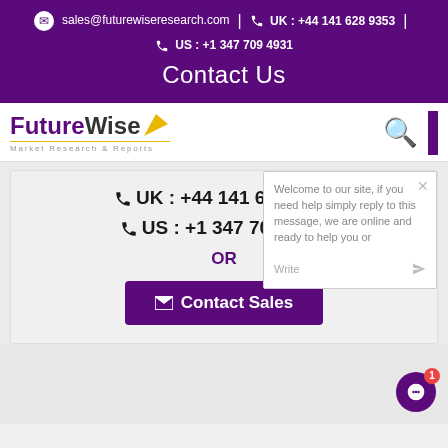sales@futurewiseresearch.com | UK : +44 141 628 9353 | US : +1 347 709 4931
Contact Us
[Figure (logo): FutureWise Market Research & Reports logo with purple and grey text and yellow arrow]
UK : +44 141 628 9353
US : +1 347 709 4931
OR
Contact Sales
Welcome to our site, if you need help simply reply to this message, we are online and ready to help you or Write